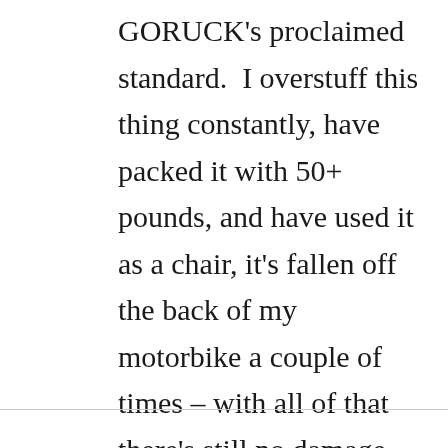GORUCK's proclaimed standard.  I overstuff this thing constantly, have packed it with 50+ pounds, and have used it as a chair, it's fallen off the back of my motorbike a couple of times – with all of that there's still no damage and minimal wear.  It's safe to say I won't need another ruck…ever.